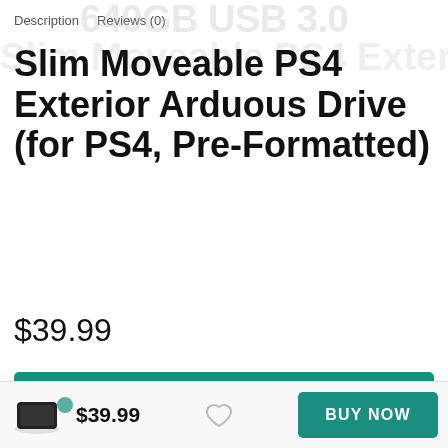Description   Reviews (0)
Slim Moveable PS4 Exterior Arduous Drive (for PS4, Pre-Formatted)
$39.99
BUY NOW
$39.99   BUY NOW